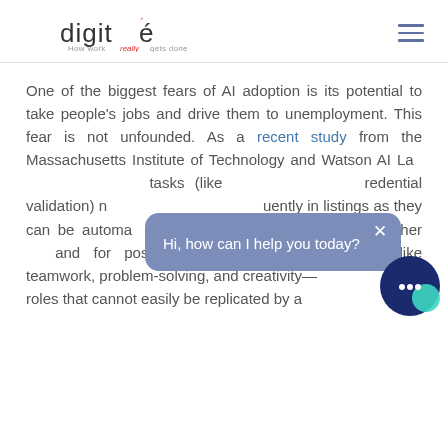[Figure (logo): Digité logo with tagline 'How work really gets done']
One of the biggest fears of AI adoption is its potential to take people's jobs and drive them to unemployment. This fear is not unfounded. As a recent study from the Massachusetts Institute of Technology and Watson AI Lab found, repetitive tasks (like background and credential validation) no longer appear as frequently in listings as they can be automated. In contrast, there has been a higher demand for positions that call for "soft skills," like teamwork, problem-solving, and creativity— roles that cannot easily be replicated by a
[Figure (screenshot): Chat widget popup with message 'Hi, how can I help you today?' and a chat button icon]